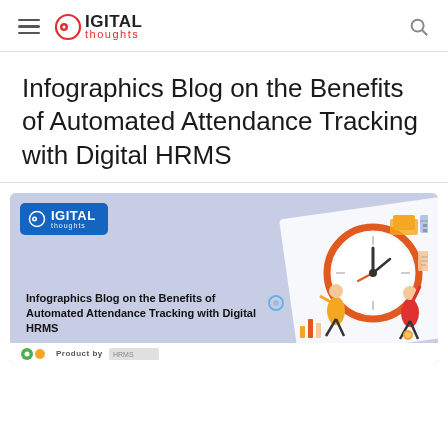DIGITAL thoughts
Infographics Blog on the Benefits of Automated Attendance Tracking with Digital HRMS
[Figure (infographic): Infographic thumbnail with blue Digital Thoughts logo badge, title text 'Infographics Blog on the Benefits of Automated Attendance Tracking with Digital HRMS', and illustrated characters interacting with a large clock on a purple-grey background. Bottom strip shows 'Product by' branding.]